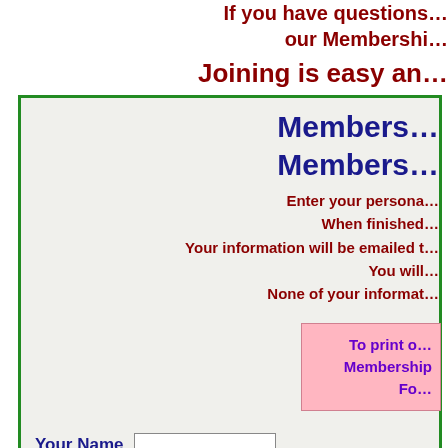If you have questions… our Membership…
Joining is easy an…
Membership… Members…
Enter your persona… When finished… Your information will be emailed t… You will… None of your informat…
To print o… Membership Fo…
Your Name